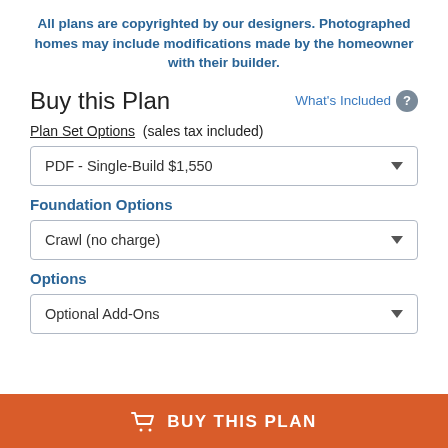All plans are copyrighted by our designers. Photographed homes may include modifications made by the homeowner with their builder.
Buy this Plan
What's Included ?
Plan Set Options  (sales tax included)
PDF - Single-Build $1,550
Foundation Options
Crawl (no charge)
Options
Optional Add-Ons
BUY THIS PLAN